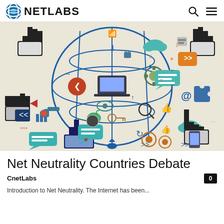CNETLABS
[Figure (illustration): Colorful infographic illustration of a globe with internet and technology icons — cursor hands, social media symbols, devices, gears, clouds, arrows — representing net neutrality and internet connectivity concepts.]
Net Neutrality Countries Debate
CnetLabs
Introduction to Net Neutrality. The Internet has been...